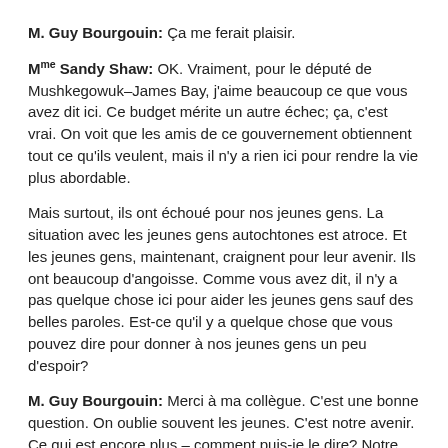M. Guy Bourgouin: Ça me ferait plaisir.
Mme Sandy Shaw: OK. Vraiment, pour le député de Mushkegowuk–James Bay, j'aime beaucoup ce que vous avez dit ici. Ce budget mérite un autre échec; ça, c'est vrai. On voit que les amis de ce gouvernement obtiennent tout ce qu'ils veulent, mais il n'y a rien ici pour rendre la vie plus abordable.
Mais surtout, ils ont échoué pour nos jeunes gens. La situation avec les jeunes gens autochtones est atroce. Et les jeunes gens, maintenant, craignent pour leur avenir. Ils ont beaucoup d'angoisse. Comme vous avez dit, il n'y a pas quelque chose ici pour aider les jeunes gens sauf des belles paroles. Est-ce qu'il y a quelque chose que vous pouvez dire pour donner à nos jeunes gens un peu d'espoir?
M. Guy Bourgouin: Merci à ma collègue. C'est une bonne question. On oublie souvent les jeunes. C'est notre avenir. Ce qui est encore plus – comment puis-je le dire? Notre